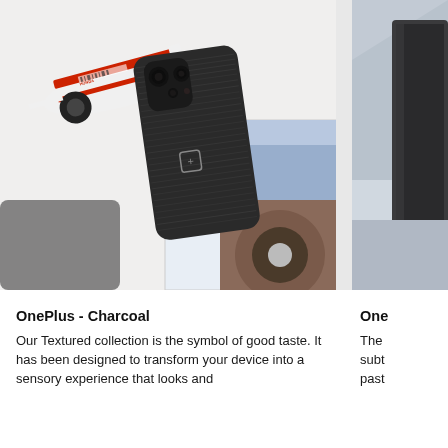[Figure (photo): OnePlus phone with charcoal/dark textured back cover lying on a white surface alongside a miniature Formula 1 car model (McLaren Honda), a photo print of a car wheel, and another dark device. The phone shows the OnePlus logo on the back.]
[Figure (photo): Partial view of another product/scene on the right side, showing a light blue-grey angular background with what appears to be a dark device or packaging partially visible.]
OnePlus - Charcoal
Our Textured collection is the symbol of good taste. It has been designed to transform your device into a sensory experience that looks and
One
The subt past